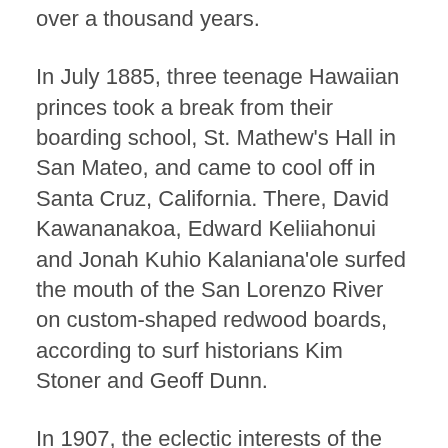over a thousand years.
In July 1885, three teenage Hawaiian princes took a break from their boarding school, St. Mathew's Hall in San Mateo, and came to cool off in Santa Cruz, California. There, David Kawananakoa, Edward Keliiahonui and Jonah Kuhio Kalaniana'ole surfed the mouth of the San Lorenzo River on custom-shaped redwood boards, according to surf historians Kim Stoner and Geoff Dunn.
In 1907, the eclectic interests of the land baron Henry E. Huntington brought the ancient art of surfing to the California coast. While on vacation, Huntington had seen Hawaiian boys surfing the